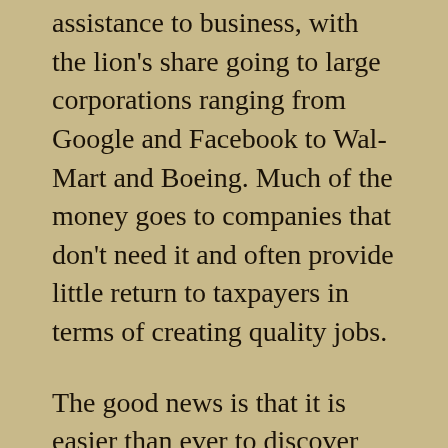assistance to business, with the lion's share going to large corporations ranging from Google and Facebook to Wal-Mart and Boeing. Much of the money goes to companies that don't need it and often provide little return to taxpayers in terms of creating quality jobs.
The good news is that it is easier than ever to discover which companies are getting the giveaways. A decade ago, only a handful of states disclosed the names of subsidy recipients. That number is now up to 43 states and the District of Columbia. Data from those 44 jurisdictions—along with previously unpublished data from five other states—can be found on Subsidy Tracker, the database